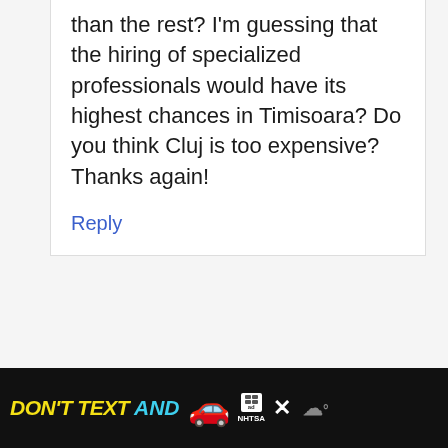than the rest? I'm guessing that the hiring of specialized professionals would have its highest chances in Timisoara? Do you think Cluj is too expensive? Thanks again!
Reply
C. the Romanian
June 6, 2021 at 9:06 am
[Figure (other): Advertisement banner: 'DON'T TEXT AND' with car emoji, ad badge, NHTSA logo, close button, and weather icon on black background]